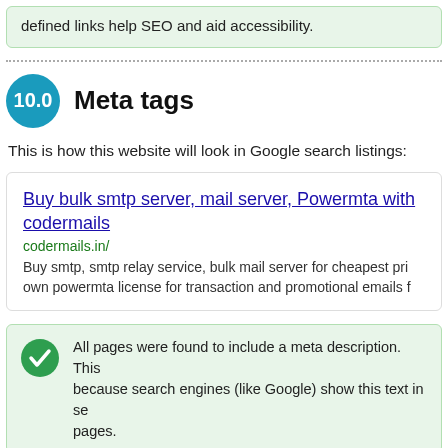defined links help SEO and aid accessibility.
10.0  Meta tags
This is how this website will look in Google search listings:
[Figure (screenshot): Google search result preview showing: title 'Buy bulk smtp server, mail server, Powermta with codermails', URL 'codermails.in/', description 'Buy smtp, smtp relay service, bulk mail server for cheapest pri... own powermta license for transaction and promotional emails f...']
All pages were found to include a meta description. This because search engines (like Google) show this text in se pages.